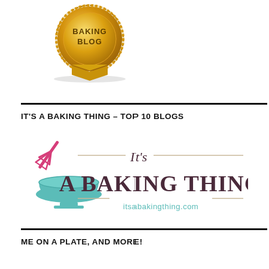[Figure (logo): Gold badge/seal with text 'BAKING BLOG' on a ribbon-style award badge]
IT'S A BAKING THING – TOP 10 BLOGS
[Figure (logo): It's A Baking Thing logo with a teal mixing bowl, pink whisk, cursive 'It's' text, bold serif 'A BAKING THING' text, and itsabakingthing.com URL]
ME ON A PLATE, AND MORE!